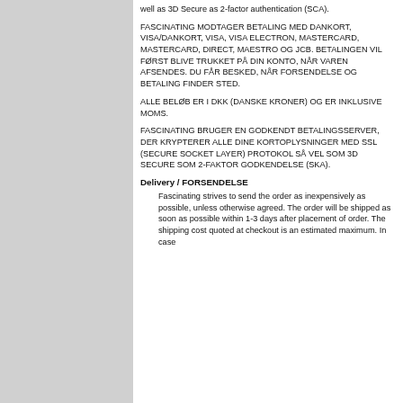well as 3D Secure as 2-factor authentication (SCA).
FASCINATING MODTAGER BETALING MED DANKORT, VISA/DANKORT, VISA, VISA ELECTRON, MASTERCARD, MASTERCARD, DIRECT, MAESTRO OG JCB. BETALINGEN VIL FØRST BLIVE TRUKKET PÅ DIN KONTO, NÅR VAREN AFSENDES. DU FÅR BESKED, NÅR FORSENDELSE OG BETALING FINDER STED.
ALLE BELØB ER I DKK (DANSKE KRONER) OG ER INKLUSIVE MOMS.
FASCINATING BRUGER EN GODKENDT BETALINGSSERVER, DER KRYPTERER ALLE DINE KORTOPLYSNINGER MED SSL (SECURE SOCKET LAYER) PROTOKOL SÅ VEL SOM 3D SECURE SOM 2-FAKTOR GODKENDELSE (SKA).
Delivery / FORSENDELSE
Fascinating strives to send the order as inexpensively as possible, unless otherwise agreed. The order will be shipped as soon as possible within 1-3 days after placement of order. The shipping cost quoted at checkout is an estimated maximum. In case